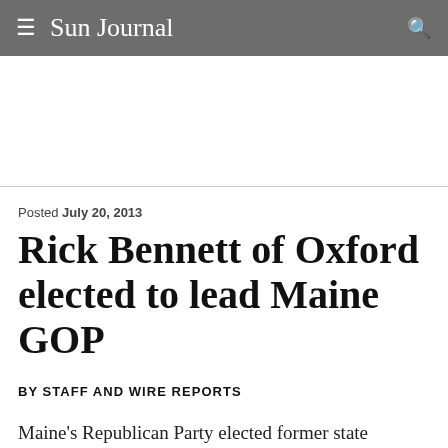≡ Sun Journal 🔍
Posted July 20, 2013
Rick Bennett of Oxford elected to lead Maine GOP
BY STAFF AND WIRE REPORTS
Maine's Republican Party elected former state